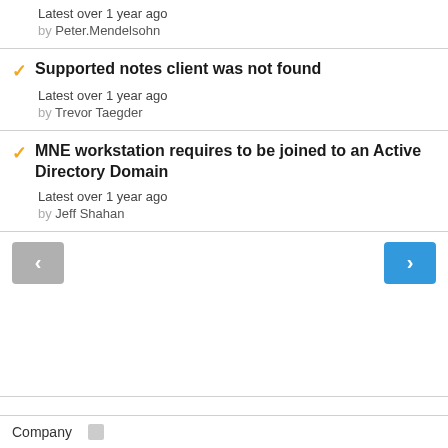Latest over 1 year ago
by Peter.Mendelsohn
Supported notes client was not found
Latest over 1 year ago
by Trevor Taegder
MNE workstation requires to be joined to an Active Directory Domain
Latest over 1 year ago
by Jeff Shahan
Company